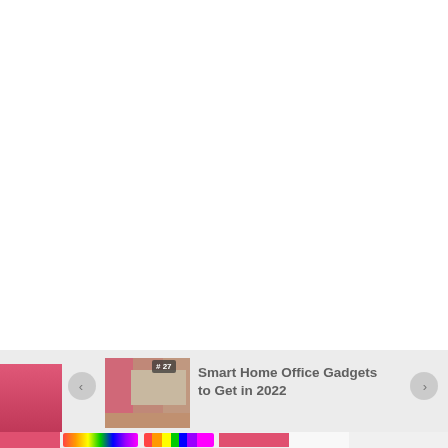[Figure (photo): Mostly white/blank area taking up the upper ~83% of the page. Bottom portion shows a website carousel/slider widget with a thumbnail image of a home office with curtains, navigation arrows, and a title reading 'Smart Home Office Gadgets to Get in 2022'. Below are colorful pencil/supply images.]
Smart Home Office Gadgets to Get in 2022